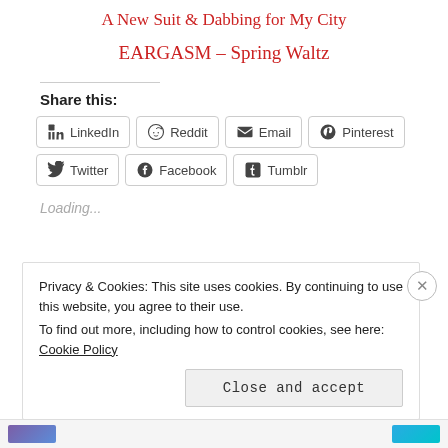A New Suit & Dabbing for My City
EARGASM – Spring Waltz
Share this:
LinkedIn  Reddit  Email  Pinterest  Twitter  Facebook  Tumblr
Loading...
Privacy & Cookies: This site uses cookies. By continuing to use this website, you agree to their use.
To find out more, including how to control cookies, see here: Cookie Policy
Close and accept